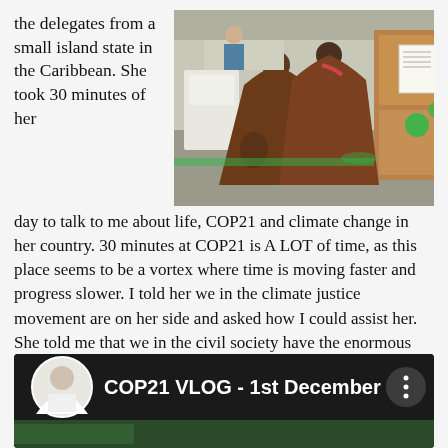the delegates from a small island state in the Caribbean. She took 30 minutes of her
[Figure (photo): Indoor conference venue photo showing two people wearing long brown cloaks/ponchos walking through what appears to be the COP21 conference center with green accents and booths visible.]
day to talk to me about life, COP21 and climate change in her country. 30 minutes at COP21 is A LOT of time, as this place seems to be a vortex where time is moving faster and progress slower. I told her we in the climate justice movement are on her side and asked how I could assist her. She told me that we in the civil society have the enormous privilege of being able to speak our mind and the frank truth. In a tired attempt, this is what I did:
[Figure (screenshot): Video thumbnail for 'COP21 VLOG - 1st December' showing a YouTube-style video player with a dark background, a circular avatar of a person in white, the video title in white text, and a menu icon on the right. The bottom shows a partial thumbnail image.]